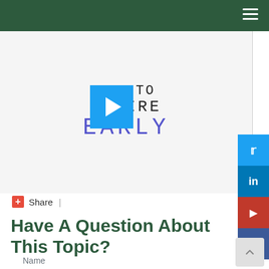How To Retire Early — site header navigation bar
[Figure (screenshot): Video thumbnail showing hand-drawn text 'HOW TO RETIRE EARLY' with a play button overlay in blue, and a vertical divider line to the right]
+ Share |
Have A Question About This Topic?
Name